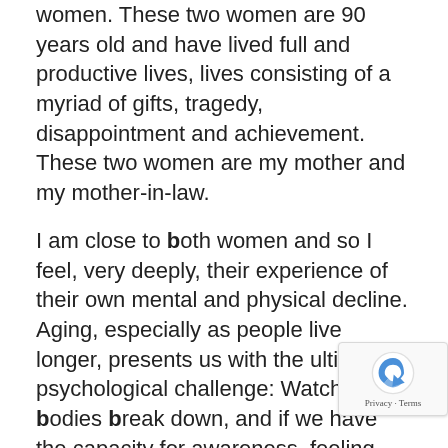women. These two women are 90 years old and have lived full and productive lives, lives consisting of a myriad of gifts, tragedy, disappointment and achievement. These two women are my mother and my mother-in-law.
I am close to both women and so I feel, very deeply, their experience of their own mental and physical decline. Aging, especially as people live longer, presents us with the ultimate psychological challenge: Watching our bodies break down, and if we have the capacity for awareness, feeling our increasing helplessness and dependency on others for our survival. Much has been written on the indignities of old age. This story is not about that. This story is about relating to people who are living it.
My mother-in-law, Sandy, suffers from severe